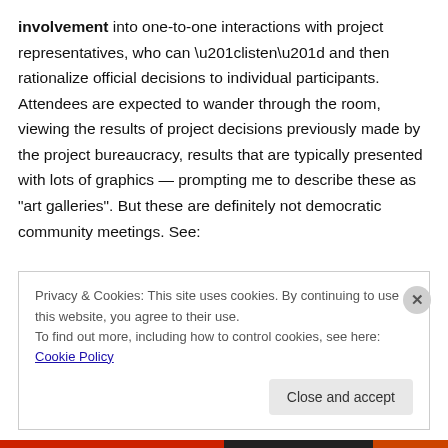involvement into one-to-one interactions with project representatives, who can “listen” and then rationalize official decisions to individual participants. Attendees are expected to wander through the room, viewing the results of project decisions previously made by the project bureaucracy, results that are typically presented with lots of graphics — prompting me to describe these as “art galleries”. But these are definitely not democratic community meetings. See:
Privacy & Cookies: This site uses cookies. By continuing to use this website, you agree to their use.
To find out more, including how to control cookies, see here: Cookie Policy